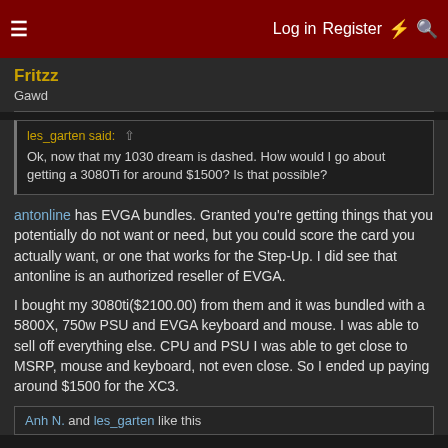Log in  Register
Fritzz
Gawd
les_garten said: ↑
Ok, now that my 1030 dream is dashed. How would I go about getting a 3080Ti for around $1500? Is that possible?
antonline has EVGA bundles. Granted you're getting things that you potentially do not want or need, but you could score the card you actually want, or one that works for the Step-Up. I did see that antonline is an authorized reseller of EVGA.
I bought my 3080ti($2100.00) from them and it was bundled with a 5800X, 750w PSU and EVGA keyboard and mouse. I was able to sell off everything else. CPU and PSU I was able to get close to MSRP, mouse and keyboard, not even close. So I ended up paying around $1500 for the XC3.
Anh N. and les_garten like this